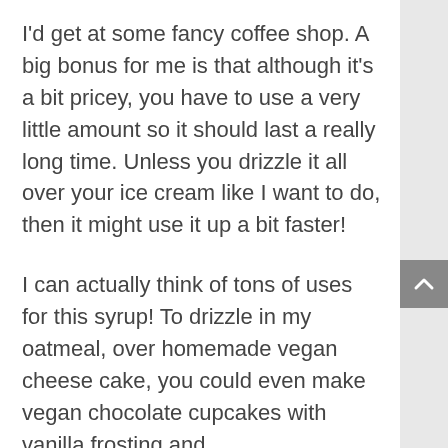I'd get at some fancy coffee shop.  A big bonus for me is that although it's a bit pricey, you have to use a very little amount so it should last a really long time.  Unless you drizzle it all over your ice cream like I want to do, then it might use it up a bit faster!
I can actually think of tons of uses for this syrup!  To drizzle in my oatmeal, over homemade vegan cheese cake, you could even make vegan chocolate cupcakes with vanilla frosting and